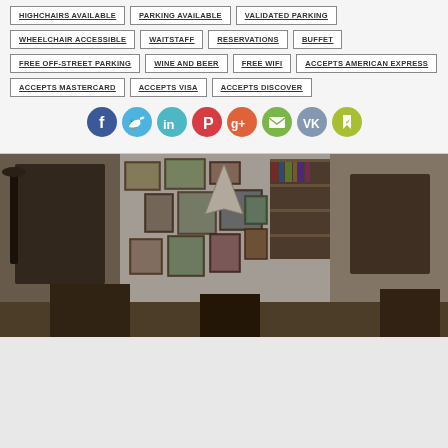HIGHCHAIRS AVAILABLE
PARKING AVAILABLE
VALIDATED PARKING
WHEELCHAIR ACCESSIBLE
WAITSTAFF
RESERVATIONS
BUFFET
FREE OFF-STREET PARKING
WINE AND BEER
FREE WIFI
ACCEPTS AMERICAN EXPRESS
ACCEPTS MASTERCARD
ACCEPTS VISA
ACCEPTS DISCOVER
[Figure (illustration): Social media sharing icons: Facebook (blue), Twitter (light blue), LinkedIn (teal), Pinterest (red), Google+ (orange-red), Email (green), VK (gray-blue), Bookmark (yellow-green)]
[Figure (photo): Interior of an art gallery or antique shop with many framed paintings covering the walls, bookshelves with books in the background, sculptures, and furniture in a crowded eclectic space]